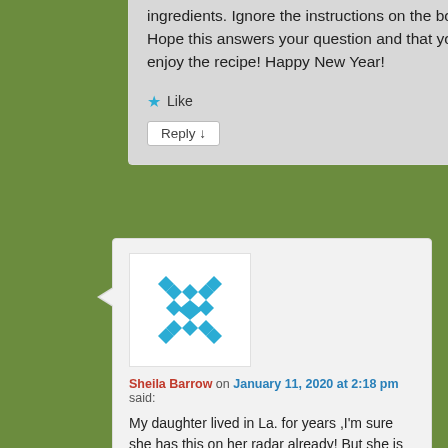ingredients. Ignore the instructions on the box. Hope this answers your question and that you enjoy the recipe! Happy New Year!
★ Like
Reply ↓
[Figure (illustration): Blue snowflake/geometric pattern avatar icon for user Sheila Barrow]
Sheila Barrow on January 11, 2020 at 2:18 pm said:
My daughter lived in La. for years ,I'm sure she has this on her radar already! But she is looking for a good etouffe . I think she has found one! I'll pass this on to her also ,many thanks! 😊